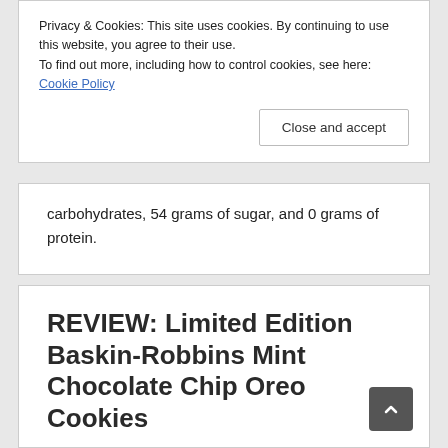Privacy & Cookies: This site uses cookies. By continuing to use this website, you agree to their use.
To find out more, including how to control cookies, see here: Cookie Policy
Close and accept
carbohydrates, 54 grams of sugar, and 0 grams of protein.
REVIEW: Limited Edition Baskin-Robbins Mint Chocolate Chip Oreo Cookies